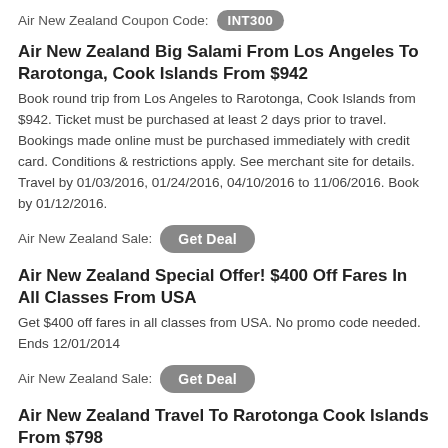Air New Zealand Coupon Code: INT300
Air New Zealand Big Salami From Los Angeles To Rarotonga, Cook Islands From $942
Book round trip from Los Angeles to Rarotonga, Cook Islands from $942. Ticket must be purchased at least 2 days prior to travel. Bookings made online must be purchased immediately with credit card. Conditions & restrictions apply. See merchant site for details. Travel by 01/03/2016, 01/24/2016, 04/10/2016 to 11/06/2016. Book by 01/12/2016.
Air New Zealand Sale: Get Deal
Air New Zealand Special Offer! $400 Off Fares In All Classes From USA
Get $400 off fares in all classes from USA. No promo code needed. Ends 12/01/2014
Air New Zealand Sale: Get Deal
Air New Zealand Travel To Rarotonga Cook Islands From $798
Travel to Rarotonga Cook Islands from $798 per person. Travel